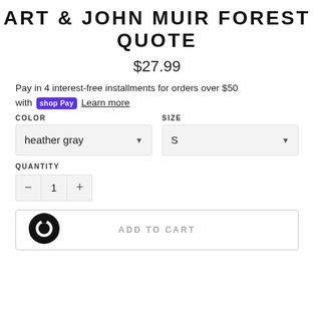ART & JOHN MUIR FOREST QUOTE
$27.99
Pay in 4 interest-free installments for orders over $50 with shop Pay Learn more
COLOR
SIZE
heather gray
S
QUANTITY
1
ADD TO CART